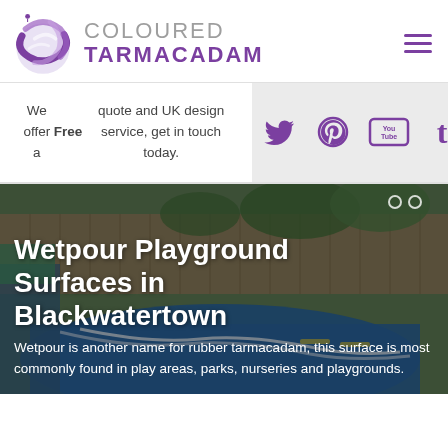[Figure (logo): Coloured Tarmacadam logo with purple globe/swirl icon and text 'COLOURED TARMACADAM']
We offer a Free quote and UK design service, get in touch today.
[Figure (infographic): Social media icons: Twitter, Pinterest, YouTube, Tumblr in purple on grey background]
[Figure (photo): Photo of a wetpour playground surface in blue with road markings, surrounded by fencing and greenery]
Wetpour Playground Surfaces in Blackwatertown
Wetpour is another name for rubber tarmacadam, this surface is most commonly found in play areas, parks, nurseries and playgrounds.